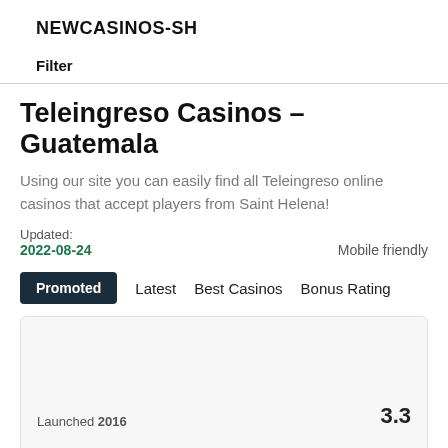NEWCASINOS-SH
Filter
Teleingreso Casinos - Guatemala
Using our site you can easily find all Teleingreso online casinos that accept players from Saint Helena!
Updated:
2022-08-24
Mobile friendly
Promoted  Latest  Best Casinos  Bonus Rating
Launched 2016
3.3